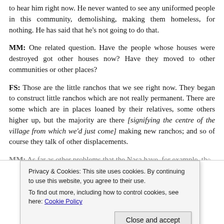to hear him right now. He never wanted to see any uniformed people in this community, demolishing, making them homeless, for nothing. He has said that he's not going to do that.
MM: One related question. Have the people whose houses were destroyed got other houses now? Have they moved to other communities or other places?
FS: Those are the little ranchos that we see right now. They began to construct little ranchos which are not really permanent. There are some which are in places loaned by their relatives, some others higher up, but the majority are there [signifying the centre of the village from which we'd just come] making new ranchos; and so of course they talk of other displacements.
MM: As far as other problems that the Nasa have, for example, the [partial, obscured by cookie banner]
[Figure (screenshot): Cookie consent banner: 'Privacy & Cookies: This site uses cookies. By continuing to use this website, you agree to their use. To find out more, including how to control cookies, see here: Cookie Policy' with a 'Close and accept' button.]
technical part we can give you, including documents.)